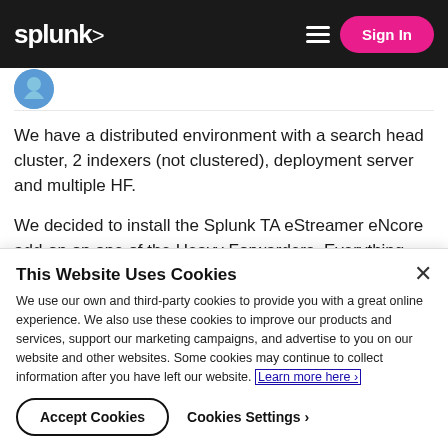splunk> Sign In
[Figure (illustration): Partial user avatar circle visible at top of content area]
We have a distributed environment with a search head cluster, 2 indexers (not clustered), deployment server and multiple HF.
We decided to install the Splunk TA eStreamer eNcore add-on on one of the Heavy Forwarders. Everything
This Website Uses Cookies
We use our own and third-party cookies to provide you with a great online experience. We also use these cookies to improve our products and services, support our marketing campaigns, and advertise to you on our website and other websites. Some cookies may continue to collect information after you have left our website. Learn more here ›
Accept Cookies   Cookies Settings ›